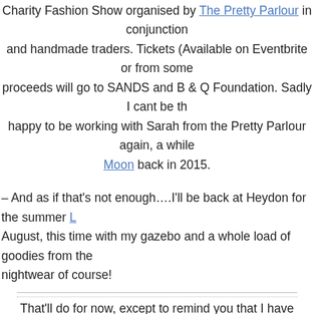Charity Fashion Show organised by The Pretty Parlour in conjunction and handmade traders. Tickets (Available on Eventbrite or from some proceeds will go to SANDS and B & Q Foundation. Sadly I cant be th happy to be working with Sarah from the Pretty Parlour again, a while Moon back in 2015.
– And as if that's not enough….I'll be back at Heydon for the summer L August, this time with my gazebo and a whole load of goodies from the nightwear of course!
That'll do for now, except to remind you that I have vintage clothing an Emporium in Cromer Old Town Hall all the while, and of cour
Hope to see you soon, and stay tuned fo
Susie x